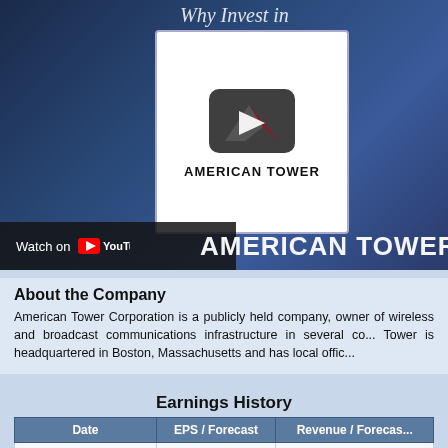[Figure (screenshot): American Tower Corporation YouTube video thumbnail with logo and 'Why Invest in' text overlay, Watch on YouTube bar, and 'AMERICAN TOWER CORP' text overlay on dark blue background]
About the Company
American Tower Corporation is a publicly held company, owner of wireless and broadcast communications infrastructure in several co... Tower is headquartered in Boston, Massachusetts and has local offic...
Earnings History
| Date | EPS / Forecast | Revenue / Forecast |
| --- | --- | --- |
| November 1, 2022 |  |  |
| July 28, 2022 | +1.25 | 0.8577 | 0.5TR | 0.5TR |